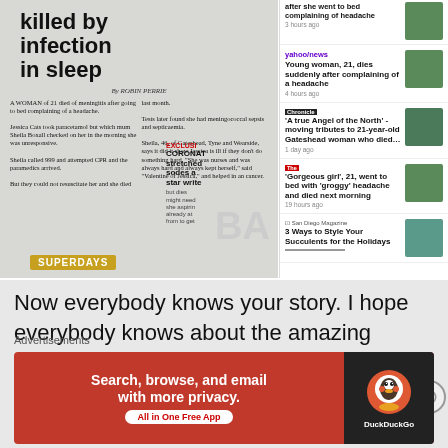[Figure (screenshot): Newspaper clipping showing headline 'killed by infection in sleep' with article by Robin Perrie, beside news aggregator results showing multiple headlines about a 21-year-old woman dying after complaining of a headache, from Yahoo News, Chronicle, The (red), and San Diego Magazine.]
Now everybody knows your story. I hope everybody knows about the amazing woman that accompanies it. Each day brings a new challenge for everybody and it
Advertisements
[Figure (screenshot): DuckDuckGo advertisement banner: 'Search, browse, and email with more privacy. All in One Free App' with DuckDuckGo logo on dark right panel.]